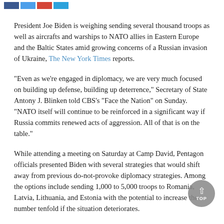[Social media share buttons: Facebook, Twitter, Google+, LinkedIn]
President Joe Biden is weighing sending several thousand troops as well as aircrafts and warships to NATO allies in Eastern Europe and the Baltic States amid growing concerns of a Russian invasion of Ukraine, The New York Times reports.
"Even as we're engaged in diplomacy, we are very much focused on building up defense, building up deterrence," Secretary of State Antony J. Blinken told CBS's "Face the Nation" on Sunday. "NATO itself will continue to be reinforced in a significant way if Russia commits renewed acts of aggression. All of that is on the table."
While attending a meeting on Saturday at Camp David, Pentagon officials presented Biden with several strategies that would shift away from previous do-not-provoke diplomacy strategies. Among the options include sending 1,000 to 5,000 troops to Romania, Latvia, Lithuania, and Estonia with the potential to increase the number tenfold if the situation deteriorates.